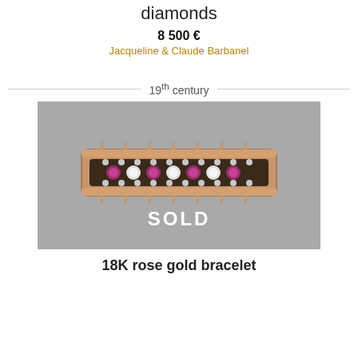diamonds
8 500 €
Jacqueline & Claude Barbanel
19th century
[Figure (photo): 18K rose gold bracelet with rubies and diamonds, 19th century. The bracelet features alternating ruby and diamond stones set in rose gold with ornate detailing. A 'SOLD' watermark is overlaid on the image.]
18K rose gold bracelet